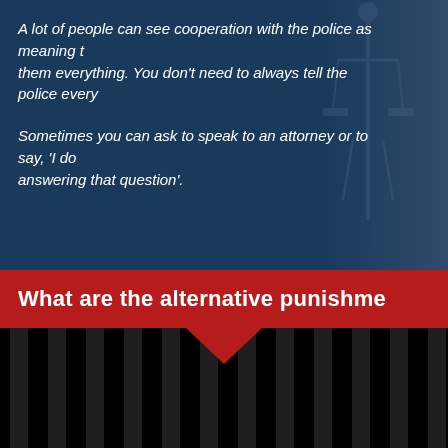A lot of people can see cooperation with the police as meaning telling them everything. You don't need to always tell the police every...
Sometimes you can ask to speak to an attorney or to say, 'I don’t feel comfortable answering that question'.
What are the alternative punishme...
[Figure (infographic): Infographic section on DIVERSION. Black background with prison bar silhouettes. Large yellow bold text reading DIVERSION followed by italic white text 'is something that the S...' and a line below reading 'having someone do jail. or even prosecuting a case. That’s wher...']